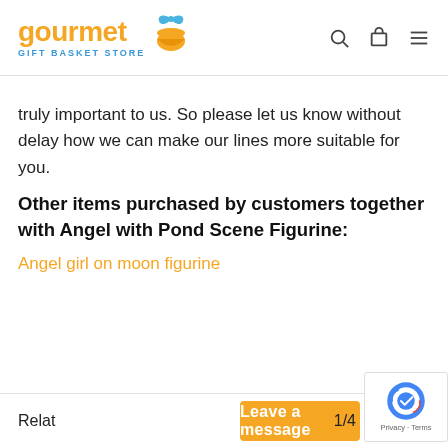gourmet GIFT BASKET STORE
truly important to us. So please let us know without delay how we can make our lines more suitable for you.
Other items purchased by customers together with Angel with Pond Scene Figurine:
Angel girl on moon figurine
Relat... 1/... Leave a message